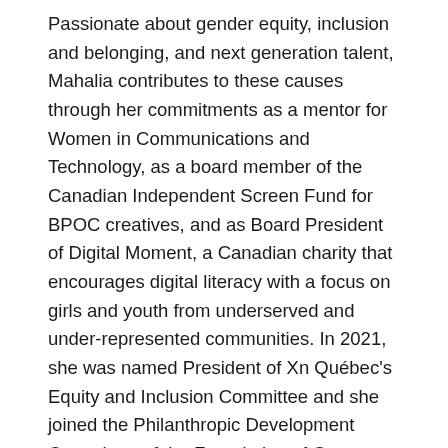Passionate about gender equity, inclusion and belonging, and next generation talent, Mahalia contributes to these causes through her commitments as a mentor for Women in Communications and Technology, as a board member of the Canadian Independent Screen Fund for BPOC creatives, and as Board President of Digital Moment, a Canadian charity that encourages digital literacy with a focus on girls and youth from underserved and under-represented communities. In 2021, she was named President of Xn Québec's Equity and Inclusion Committee and she joined the Philanthropic Development Committee of the Foundation of Greater Montréal. Most recently, she won the Chair of the Board Award in her role as Board President of Digital Moment, at the Women's Executive Network's 2022 Canadian Equity Diversity and Inclusion Awards.